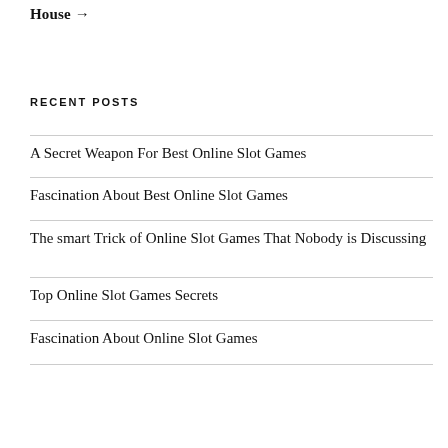House →
RECENT POSTS
A Secret Weapon For Best Online Slot Games
Fascination About Best Online Slot Games
The smart Trick of Online Slot Games That Nobody is Discussing
Top Online Slot Games Secrets
Fascination About Online Slot Games